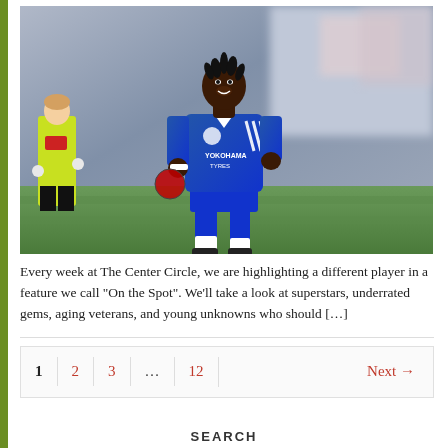[Figure (photo): A soccer player wearing a blue Chelsea FC jersey with 'YOKOHAMA TYRES' sponsor, running on a field. A referee in green/yellow is visible on the left. Blurred stadium crowd in background.]
Every week at The Center Circle, we are highlighting a different player in a feature we call “On the Spot”. We’ll take a look at superstars, underrated gems, aging veterans, and young unknowns who should […]
1  2  3  ...  12  Next →
SEARCH